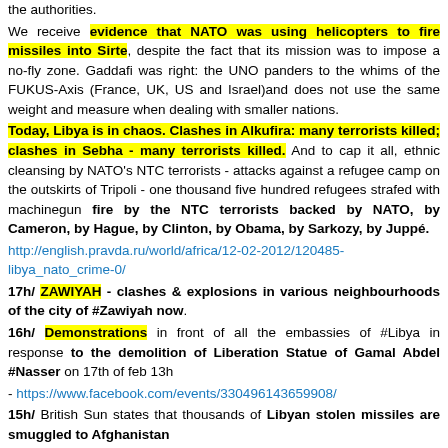the authorities.
We receive evidence that NATO was using helicopters to fire missiles into Sirte, despite the fact that its mission was to impose a no-fly zone. Gaddafi was right: the UNO panders to the whims of the FUKUS-Axis (France, UK, US and Israel)and does not use the same weight and measure when dealing with smaller nations.
Today, Libya is in chaos. Clashes in Alkufira: many terrorists killed; clashes in Sebha - many terrorists killed. And to cap it all, ethnic cleansing by NATO's NTC terrorists - attacks against a refugee camp on the outskirts of Tripoli - one thousand five hundred refugees strafed with machinegun fire by the NTC terrorists backed by NATO, by Cameron, by Hague, by Clinton, by Obama, by Sarkozy, by Juppé.
http://english.pravda.ru/world/africa/12-02-2012/120485-libya_nato_crime-0/
17h/ ZAWIYAH - clashes & explosions in various neighbourhoods of the city of #Zawiyah now.
16h/ Demonstrations in front of all the embassies of #Libya in response to the demolition of Liberation Statue of Gamal Abdel #Nasser on 17th of feb 13h
- https://www.facebook.com/events/330496143659908/
15h/ British Sun states that thousands of Libyan stolen missiles are smuggled to Afghanistan
14h/ According to Jalil ,can't move Saif #Gaddafi to #Tripoli cause he has construction problems with a new jail- next nonsense? Lack of interogation light bulbs?